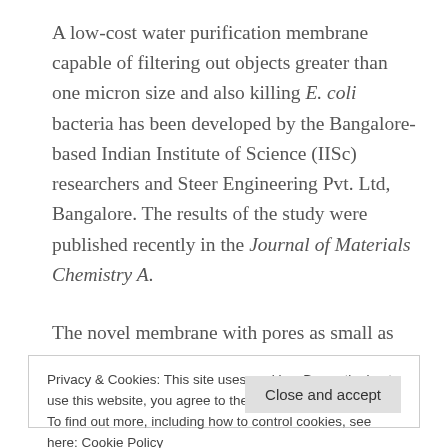A low-cost water purification membrane capable of filtering out objects greater than one micron size and also killing E. coli bacteria has been developed by the Bangalore-based Indian Institute of Science (IISc) researchers and Steer Engineering Pvt. Ltd, Bangalore. The results of the study were published recently in the Journal of Materials Chemistry A.
The novel membrane with pores as small as 0.57-
Privacy & Cookies: This site uses cookies. By continuing to use this website, you agree to their use.
To find out more, including how to control cookies, see here: Cookie Policy